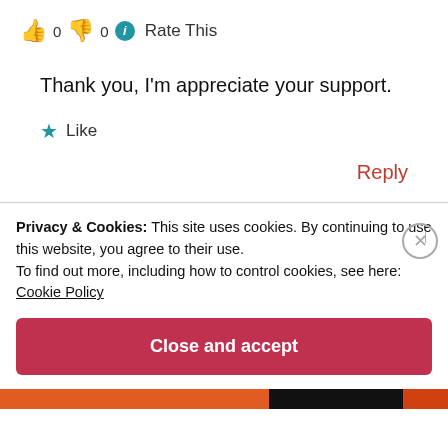👍 0 👎 0 ℹ Rate This
Thank you, I'm appreciate your support.
★ Like
Reply
Privacy & Cookies: This site uses cookies. By continuing to use this website, you agree to their use.
To find out more, including how to control cookies, see here:
Cookie Policy
Close and accept